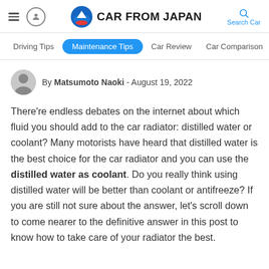CAR FROM JAPAN
Driving Tips  Maintenance Tips  Car Review  Car Comparison
By Matsumoto Naoki - August 19, 2022
There're endless debates on the internet about which fluid you should add to the car radiator: distilled water or coolant? Many motorists have heard that distilled water is the best choice for the car radiator and you can use the distilled water as coolant. Do you really think using distilled water will be better than coolant or antifreeze? If you are still not sure about the answer, let's scroll down to come nearer to the definitive answer in this post to know how to take care of your radiator the best.